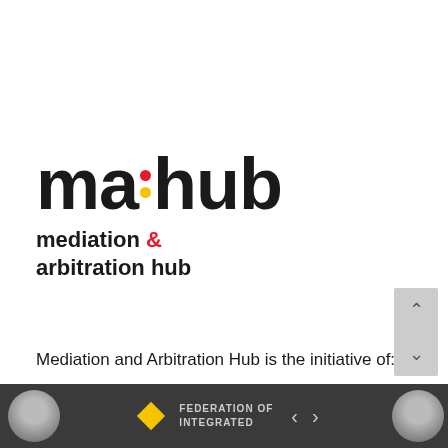[Figure (logo): ma:hub logo — bold black text 'ma:hub' with a colon consisting of a red dot on top and yellow dot below; below in bold black 'mediation &' with '&' in red, and 'arbitration hub']
Mediation and Arbitration Hub is the initiative of:
[Figure (other): Dark bottom bar with two circular profile photo thumbnails on either side, navigation arrows in center, and 'FEDERATION OF INTEGRATED' text with yellow diamond logo]